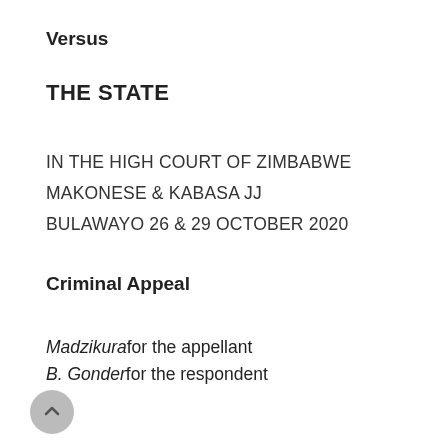Versus
THE STATE
IN THE HIGH COURT OF ZIMBABWE
MAKONESE & KABASA JJ
BULAWAYO 26 & 29 OCTOBER 2020
Criminal Appeal
Madzikura for the appellant
B. Gonder for the respondent